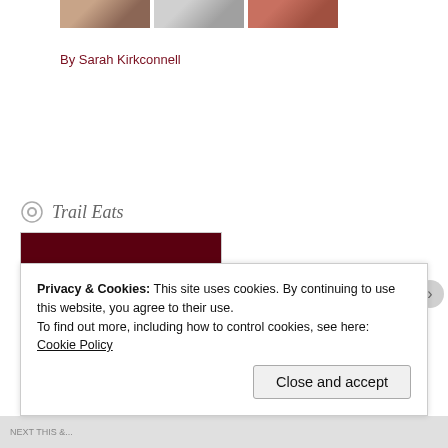[Figure (photo): Three small thumbnail images of food at top of page]
By Sarah Kirkconnell
Trail Eats
[Figure (photo): Book cover of 'Trail Eats' showing dark maroon bar at top, title in large serif font, and two food photos below]
Privacy & Cookies: This site uses cookies. By continuing to use this website, you agree to their use.
To find out more, including how to control cookies, see here: Cookie Policy
Close and accept